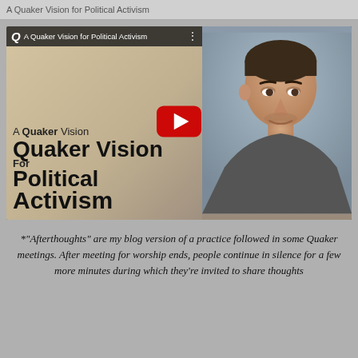A Quaker Vision for Political Activism
[Figure (screenshot): YouTube video thumbnail showing a man speaking, with text overlay reading 'Quaker Vision For Political Activism' and a red play button in the center. Video title bar at top reads 'A Quaker Vision for Political Activism'.]
*"Afterthoughts" are my blog version of a practice followed in some Quaker meetings. After meeting for worship ends, people continue in silence for a few more minutes during which they're invited to share thoughts